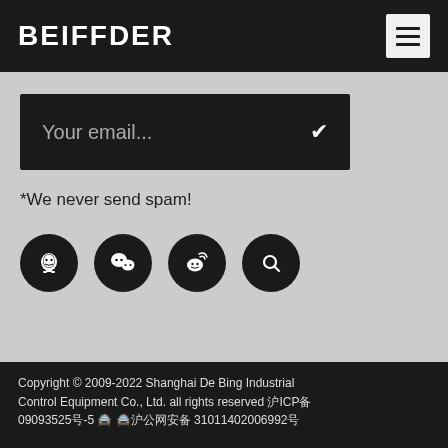BEIFFDER
[Figure (other): Email subscription input field with dark background showing placeholder text 'Your email...' and a checkmark button]
*We never send spam!
[Figure (other): Four circular dark social media icon buttons: QQ, WeChat, Weibo, and Pinterest/search]
Copyright © 2009-2022 Shanghai De Bing Industrial Control Equipment Co., Ltd. all rights reserved 沪ICP备09093525号-5 🚔 🚔沪公网安备 31011402006992号